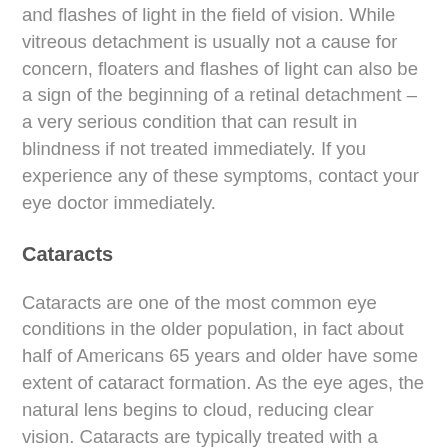and flashes of light in the field of vision. While vitreous detachment is usually not a cause for concern, floaters and flashes of light can also be a sign of the beginning of a retinal detachment – a very serious condition that can result in blindness if not treated immediately. If you experience any of these symptoms, contact your eye doctor immediately.
Cataracts
Cataracts are one of the most common eye conditions in the older population, in fact about half of Americans 65 years and older have some extent of cataract formation. As the eye ages, the natural lens begins to cloud, reducing clear vision. Cataracts are typically treated with a common surgical procedure which removes the clouded lens and replaces it with a clear, artificial lens. Today, cataract surgery is extremely safe